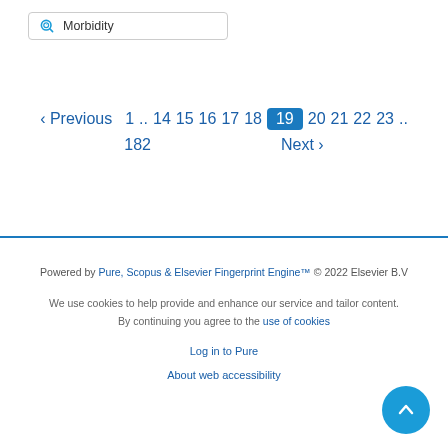Morbidity
‹ Previous  1 .. 14  15  16  17  18  19  20  21  22  23 ..  182  Next ›
Powered by Pure, Scopus & Elsevier Fingerprint Engine™ © 2022 Elsevier B.V
We use cookies to help provide and enhance our service and tailor content. By continuing you agree to the use of cookies
Log in to Pure
About web accessibility